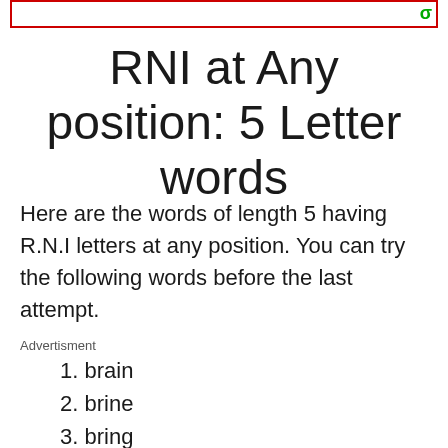σ
RNI at Any position: 5 Letter words
Here are the words of length 5 having R.N.I letters at any position. You can try the following words before the last attempt.
Advertisment
1. brain
2. brine
3. bring
4. brink
5. briny
6. cairn
7. diner